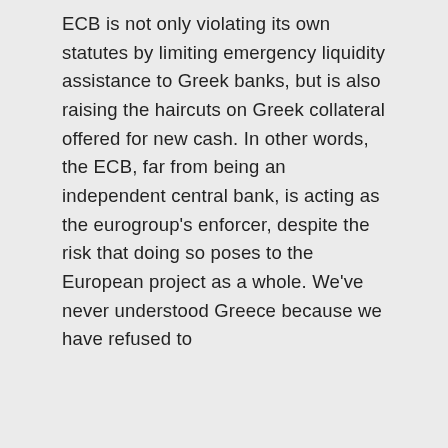ECB is not only violating its own statutes by limiting emergency liquidity assistance to Greek banks, but is also raising the haircuts on Greek collateral offered for new cash. In other words, the ECB, far from being an independent central bank, is acting as the eurogroup's enforcer, despite the risk that doing so poses to the European project as a whole. We've never understood Greece because we have refused to